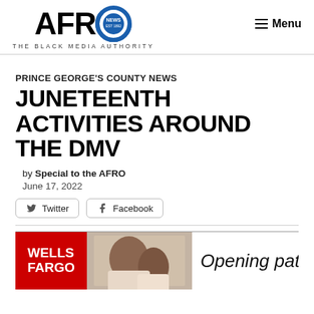AFRO NEWS — THE BLACK MEDIA AUTHORITY | Menu
PRINCE GEORGE'S COUNTY NEWS
JUNETEENTH ACTIVITIES AROUND THE DMV
by Special to the AFRO
June 17, 2022
Twitter  Facebook
[Figure (photo): Wells Fargo advertisement banner showing a woman and child reading together with text 'Opening pathw']